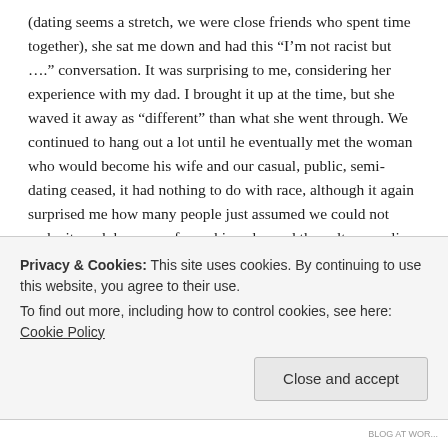(dating seems a stretch, we were close friends who spent time together), she sat me down and had this “I’m not racist but ….” conversation. It was surprising to me, considering her experience with my dad. I brought it up at the time, but she waved it away as “different” than what she went through. We continued to hang out a lot until he eventually met the woman who would become his wife and our casual, public, semi-dating ceased, it had nothing to do with race, although it again surprised me how many people just assumed we could not make it work because of our skin color and the culture we live in. No, we could not make it work because we were not strongly interested in romancing each other. The stereotypes and assumptions about him and about me when we were out and about were upsetting and
Privacy & Cookies: This site uses cookies. By continuing to use this website, you agree to their use.
To find out more, including how to control cookies, see here: Cookie Policy
Close and accept